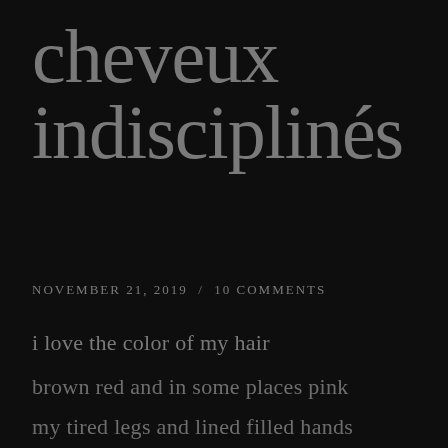cheveux indisciplinés
NOVEMBER 21, 2019  /  10 COMMENTS
i love the color of my hair
brown red and in some places pink
my tired legs and lined filled hands